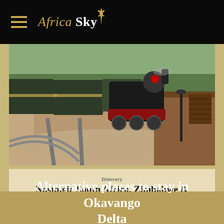Africa Sky
[Figure (photo): A vintage steam locomotive pulling passenger carriages approaching a platform, photographed from track level. A historic station building is visible on the right side.]
Itinerary
Nostalgic South Africa, Zimbabwe & Botswana
9 nights from £13495 / €15295 / $17595 pp
Alternative places to stay in Okavango Delta